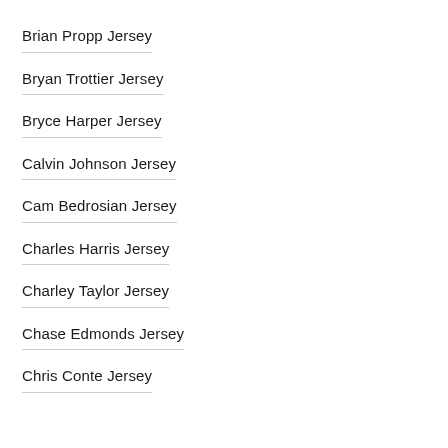Brian Propp Jersey
Bryan Trottier Jersey
Bryce Harper Jersey
Calvin Johnson Jersey
Cam Bedrosian Jersey
Charles Harris Jersey
Charley Taylor Jersey
Chase Edmonds Jersey
Chris Conte Jersey